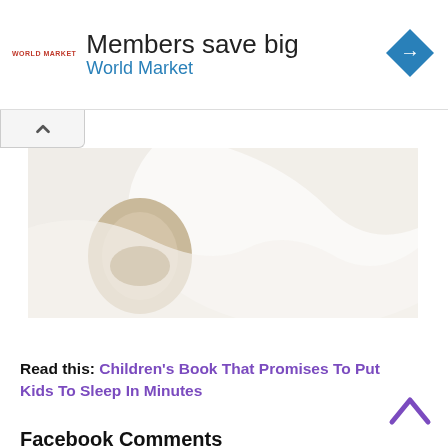[Figure (screenshot): World Market advertisement banner: logo on left, 'Members save big' heading, 'World Market' subtitle in blue, diamond navigation icon on right]
[Figure (photo): Close-up photo of a baby or stuffed animal with beige/cream ear visible against white fabric/bedding]
Read this: Children's Book That Promises To Put Kids To Sleep In Minutes
Facebook Comments